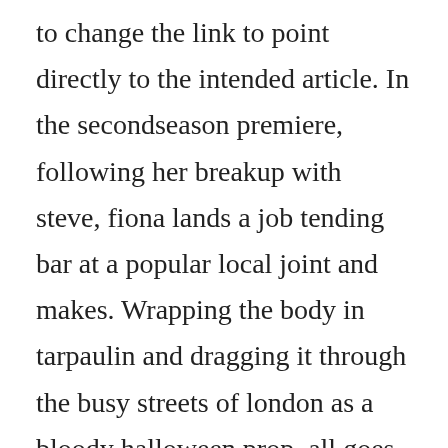to change the link to point directly to the intended article. In the secondseason premiere, following her breakup with steve, fiona lands a job tending bar at a popular local joint and makes. Wrapping the body in tarpaulin and dragging it through the busy streets of london as a bloody halloween prop, all goes to plan until an. All 3 songs featured in body of proof season 2 episode 16. I like these kind of movies, because you feel like you are trying to be a detective as well and trying to figure out what the hell is going on. In season 2, brenda is now firmly established